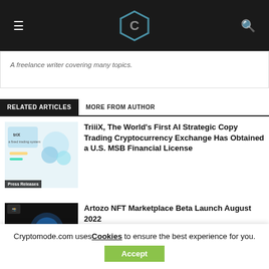Cryptomode (logo with hexagon icon), hamburger menu, search icon
A freelance writer covering many topics.
RELATED ARTICLES   MORE FROM AUTHOR
[Figure (illustration): Illustration of people around technology/trading platform for TriiiX article, with Press Releases badge]
TriiiX, The World's First AI Strategic Copy Trading Cryptocurrency Exchange Has Obtained a U.S. MSB Financial License
[Figure (illustration): Dark image with text 'IT'S TIME to make your NFTs work for you!' with Press Releases badge for Artozo article]
Artozo NFT Marketplace Beta Launch August 2022
Cryptomode.com uses Cookies to ensure the best experience for you.